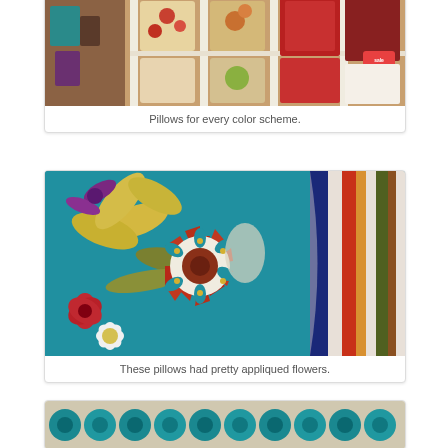[Figure (photo): Display of decorative pillows on store shelves showing various colors and patterns including floral designs, solid reds, and patterned fabrics. A sale tag showing 20% off is visible.]
Pillows for every color scheme.
[Figure (photo): Close-up of decorative throw pillows featuring a teal/turquoise pillow with appliqued flowers including a large rust-red flower with turquoise center detail, and white daisy, plus striped pillows in background.]
These pillows had pretty appliqued flowers.
[Figure (photo): Partial view of teal ruffled fabric or pillow at bottom of page, partially cut off.]